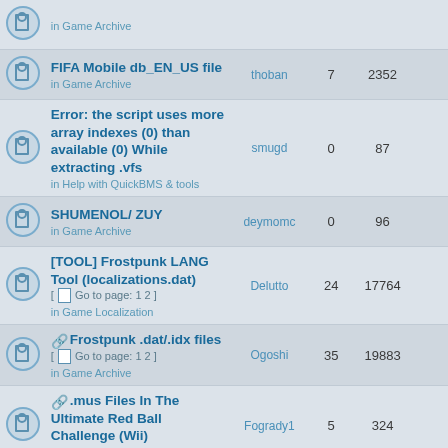|  | Topic | Author | Replies | Views | Last post |
| --- | --- | --- | --- | --- | --- |
|  | FIFA Mobile db_EN_US file
in Game Archive | thoban | 7 | 2352 |  |
|  | Error: the script uses more array indexes (0) than available (0) While extracting .vfs
in Help with QuickBMS & tools | smugd | 0 | 87 |  |
|  | SHUMENOL/ ZUY
in Game Archive | deymomc | 0 | 96 |  |
|  | [TOOL] Frostpunk LANG Tool (localizations.dat)
Go to page: 1 2
in Game Localization | Delutto | 24 | 17764 |  |
|  | Frostpunk .dat/.idx files
Go to page: 1 2
in Game Archive | Ogoshi | 35 | 19883 |  |
|  | .mus Files In The Ultimate Red Ball Challenge (Wii)
in Audio and Video file formats | Fogrady1 | 5 | 324 |  |
|  | Psychedelica of the Black Butterfly .pck files
in Game Archive | Riesz | 1 | 158 |  |